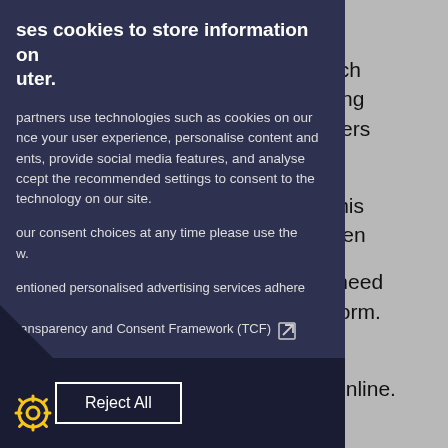o see which ore applying ulator covers dit.
benefit. This gs are taken
, you will need plication form.
idence to his to us online.
ses cookies to store information on uter.
partners use technologies such as cookies on our nce your user experience, personalise content and ents, provide social media features, and analyse ccept the recommended settings to consent to the technology on our site.
our consent choices at any time please use the w.
entioned personalised advertising services adhere
ransparency and Consent Framework (TCF)
Reject All